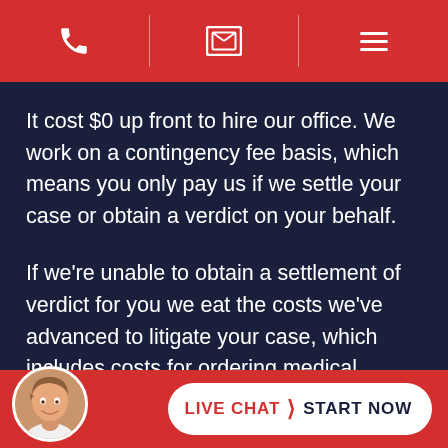[navigation bar with phone, email, and menu icons]
It cost $0 up front to hire our office. We work on a contingency fee basis, which means you only pay us if we settle your case or obtain a verdict on your behalf.
If we're unable to obtain a settlement of verdict for you we eat the costs we've advanced to litigate your case, which includes costs for ordering medical records, filing your case, hiring experts, deposing witnesses, and man... (continues)
[Figure (screenshot): Live chat button with agent avatar at bottom of screen. Red background bar. White pill-shaped button reading 'LIVE CHAT > START NOW' in red and dark navy text.]